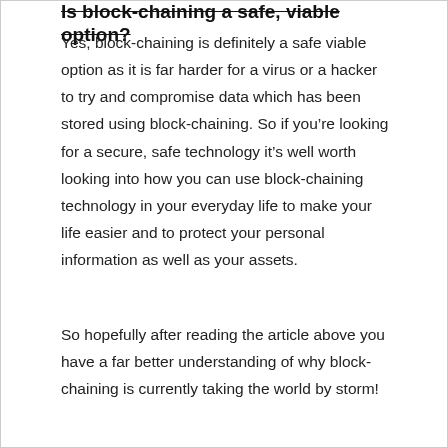Is block-chaining a safe, viable option?
Yes, block-chaining is definitely a safe viable option as it is far harder for a virus or a hacker to try and compromise data which has been stored using block-chaining. So if you're looking for a secure, safe technology it's well worth looking into how you can use block-chaining technology in your everyday life to make your life easier and to protect your personal information as well as your assets.
So hopefully after reading the article above you have a far better understanding of why block-chaining is currently taking the world by storm!